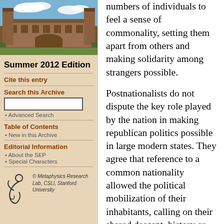[Figure (photo): Photo of a university building (stone architecture) with blue sky and clouds]
Summer 2012 Edition
Cite this entry
Search this Archive
Advanced Search
Table of Contents
New in this Archive
Editorial Information
About the SEP
Special Characters
[Figure (logo): Metaphysics Research Lab logo with stylized figure]
© Metaphysics Research Lab, CSLI, Stanford University
numbers of individuals to feel a sense of commonality, setting them apart from others and making solidarity among strangers possible.
Postnationalists do not dispute the key role played by the nation in making republican politics possible in large modern states. They agree that reference to a common nationality allowed the political mobilization of their inhabitants, calling on their shared descent, history or language. But democracy's association with the nation-state is contingent rather than necessary. And this, it is argued, means that democratic politics